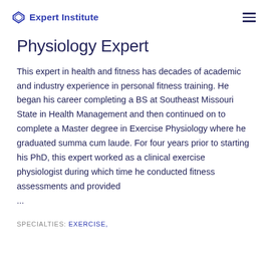Expert Institute
Physiology Expert
This expert in health and fitness has decades of academic and industry experience in personal fitness training. He began his career completing a BS at Southeast Missouri State in Health Management and then continued on to complete a Master degree in Exercise Physiology where he graduated summa cum laude. For four years prior to starting his PhD, this expert worked as a clinical exercise physiologist during which time he conducted fitness assessments and provided ...
SPECIALTIES: EXERCISE,